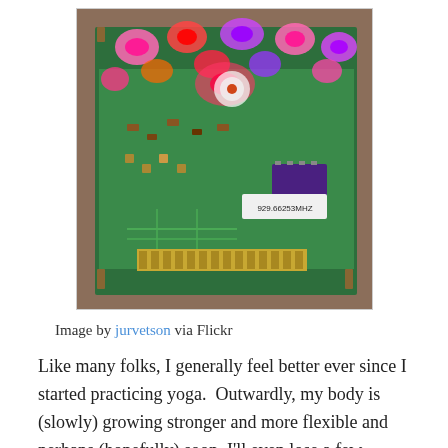[Figure (photo): A photograph of a green circuit board with LEDs lit up in pink, red, and purple colors, placed on a textured surface. A white label reads '929.66253MHZ'.]
Image by jurvetson via Flickr
Like many folks, I generally feel better ever since I started practicing yoga.  Outwardly, my body is (slowly) growing stronger and more flexible and perhaps (hopefully) soon, I'll even lose a few pounds.  However, even if I was to convince myself that looked slimmer (skinny mirrors?), the only way to really know if I've lost weight, is to stand on a scale and record my weight each day (darn! no fatness